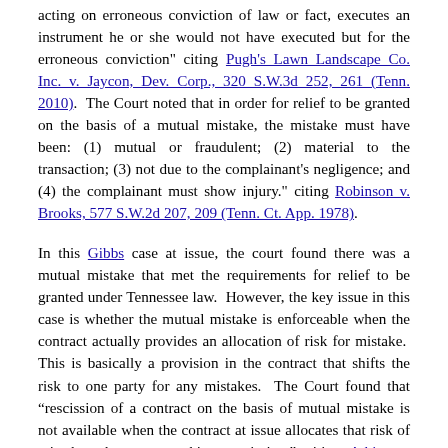acting on erroneous conviction of law or fact, executes an instrument he or she would not have executed but for the erroneous conviction" citing Pugh's Lawn Landscape Co. Inc. v. Jaycon, Dev. Corp., 320 S.W.3d 252, 261 (Tenn. 2010). The Court noted that in order for relief to be granted on the basis of a mutual mistake, the mistake must have been: (1) mutual or fraudulent; (2) material to the transaction; (3) not due to the complainant's negligence; and (4) the complainant must show injury." citing Robinson v. Brooks, 577 S.W.2d 207, 209 (Tenn. Ct. App. 1978).
In this Gibbs case at issue, the court found there was a mutual mistake that met the requirements for relief to be granted under Tennessee law. However, the key issue in this case is whether the mutual mistake is enforceable when the contract actually provides an allocation of risk for mistake. This is basically a provision in the contract that shifts the risk to one party for any mistakes. The Court found that “rescission of a contract on the basis of mutual mistake is not available when the contract at issue allocates that risk of mistakes the party seeking rescission.” citing Atkins v. Kirkpatrick, 823 S.W.2d 547, 553 (Tenn. Ct. App. 1991). Within the contract in this case under subsection 7 it provided that “Closing of this sale constitutes acceptance of Property in its condition as of the time of closing, unless otherwise noted in writing.” The Court of Appeals found that this